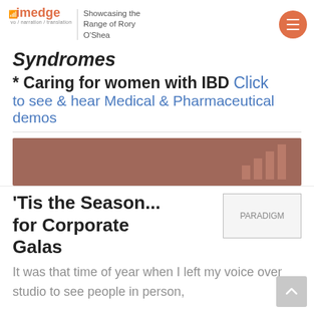imedge — vo / narration / translation — Showcasing the Range of Rory O'Shea
Syndromes
* Caring for women with IBD   Click to see & hear Medical & Pharmaceutical demos
[Figure (other): Brown/mauve horizontal banner bar]
'Tis the Season... for Corporate Galas
[Figure (other): PARADIGM image placeholder]
It was that time of year when I left my voice over studio to see people in person,